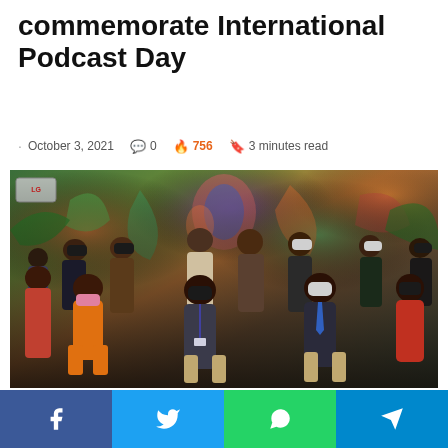commemorate International Podcast Day
October 3, 2021  0  756  3 minutes read
[Figure (photo): Group photo of approximately 25 people wearing face masks, posing for a photo in front of a colorful mural/painting. Some people are seated in the front row, others standing behind. An LG air conditioning unit is visible in the upper left corner.]
Facebook  Twitter  WhatsApp  Telegram